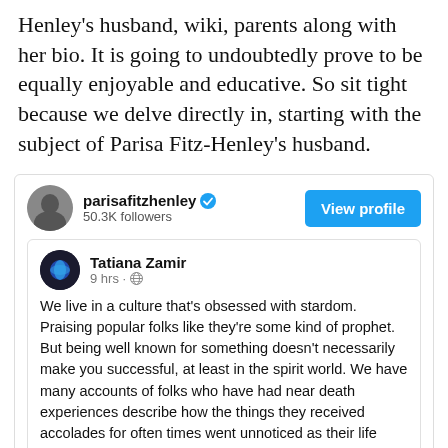Henley's husband, wiki, parents along with her bio. It is going to undoubtedly prove to be equally enjoyable and educative. So sit tight because we delve directly in, starting with the subject of Parisa Fitz-Henley's husband.
[Figure (screenshot): Social media profile card for parisafitzhenley with 50.3K followers and a 'View profile' button, containing an inner post by Tatiana Zamir (9 hrs) with text about culture and stardom.]
We live in a culture that's obsessed with stardom. Praising popular folks like they're some kind of prophet. But being well known for something doesn't necessarily make you successful, at least in the spirit world. We have many accounts of folks who have had near death experiences describe how the things they received accolades for often times went unnoticed as their life review flashed before their eyes. And the small acts of kindness they barely remembered doing, served as the brightest highlights of their lives. I think